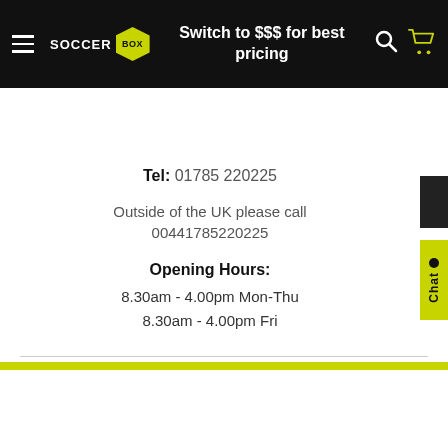Switch to $$$ for best pricing
Delivery Information
Tel: 01785 220225
Outside of the UK please call 00441785220225
Opening Hours:
8.30am - 4.00pm Mon-Thu
8.30am - 4.00pm Fri
10% Off 22/23 Products Use Code 2223FLASH